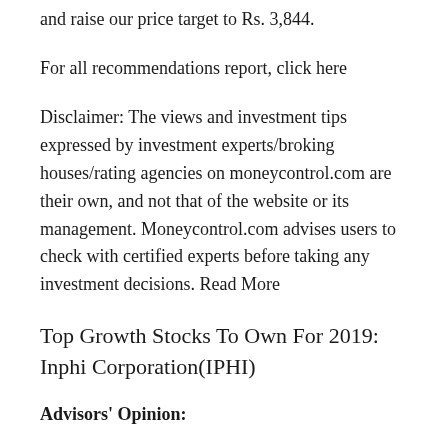and raise our price target to Rs. 3,844.
For all recommendations report, click here
Disclaimer: The views and investment tips expressed by investment experts/broking houses/rating agencies on moneycontrol.com are their own, and not that of the website or its management. Moneycontrol.com advises users to check with certified experts before taking any investment decisions. Read More
Top Growth Stocks To Own For 2019: Inphi Corporation(IPHI)
Advisors’ Opinion:
[By Ethan Ryder] Inphi Co. (NYSE:IPHI) VP Ron Torten sold 12,342 shares of Inphi stock in a transaction dated Monday